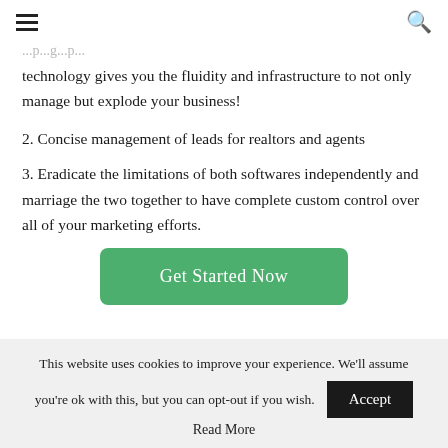≡   🔍
technology gives you the fluidity and infrastructure to not only manage but explode your business!
2. Concise management of leads for realtors and agents
3. Eradicate the limitations of both softwares independently and marriage the two together to have complete custom control over all of your marketing efforts.
[Figure (other): Green 'Get Started Now' button]
This website uses cookies to improve your experience. We'll assume you're ok with this, but you can opt-out if you wish.
Accept
Read More